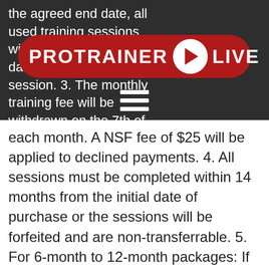the agreed end date, all used training sessions will be charged at the daily rate per training session. 3. The monthly training fee will be withdrawn on the 7th of each month. A NSF fee of $25 will be applied to declined payments. 4. All sessions must be completed within 14 months from the initial date of purchase or the sessions will be forfeited and are non-transferrable. 5. For 6-month to 12-month packages: If you cannot come in for certain
[Figure (logo): ProTrainer Live logo — red pill-shaped bar with white bold text PRO TRAINER, a white circle with a red play triangle, and LIVE text]